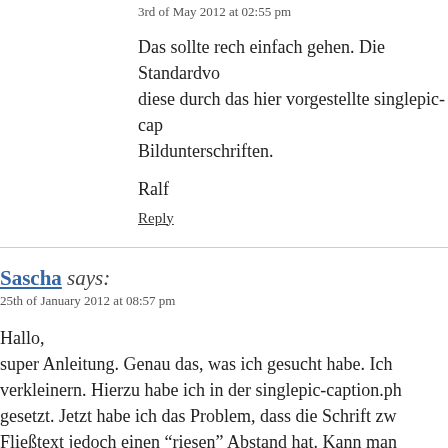3rd of May 2012 at 02:55 pm
Das sollte rech einfach gehen. Die Standardvo diese durch das hier vorgestellte singlepic-cap Bildunterschriften.
Ralf
Reply
Sascha says:
25th of January 2012 at 08:57 pm
Hallo,
super Anleitung. Genau das, was ich gesucht habe. Ich verkleinern. Hierzu habe ich in der singlepic-caption.ph gesetzt. Jetzt habe ich das Problem, dass die Schrift zw Fließtext jedoch einen "riesen" Abstand hat. Kann man Vielen Dank! Sascha